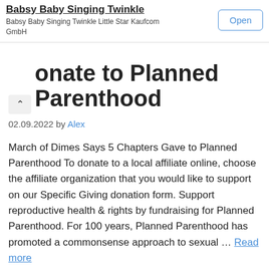Babsy Baby Singing Twinkle
Babsy Baby Singing Twinkle Little Star Kaufcom GmbH
Open
...onate to Planned Parenthood
02.09.2022 by Alex
March of Dimes Says 5 Chapters Gave to Planned Parenthood To donate to a local affiliate online, choose the affiliate organization that you would like to support on our Specific Giving donation form. Support reproductive health & rights by fundraising for Planned Parenthood. For 100 years, Planned Parenthood has promoted a commonsense approach to sexual … Read more